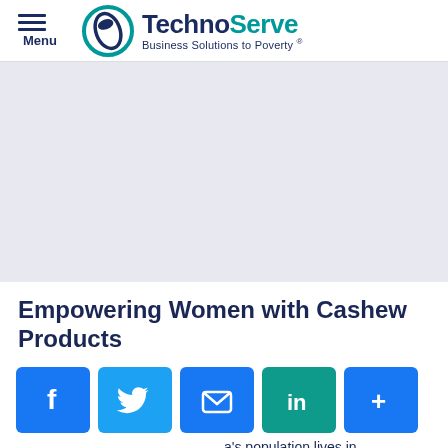Menu | TechnoServe — Business Solutions to Poverty®
[Figure (photo): Large hero image area, light gray/lavender placeholder background]
Empowering Women with Cashew Products
[Figure (infographic): Social share buttons: Facebook, Twitter, Email, LinkedIn, More (+)]
a's population lives in